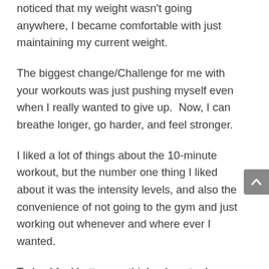noticed that my weight wasn't going anywhere, I became comfortable with just maintaining my current weight.
The biggest change/Challenge for me with your workouts was just pushing myself even when I really wanted to give up.  Now, I can breathe longer, go harder, and feel stronger.
I liked a lot of things about the 10-minute workout, but the number one thing I liked about it was the intensity levels, and also the convenience of not going to the gym and just working out whenever and where ever I wanted.
Today I feel better, my thighs do not rub against